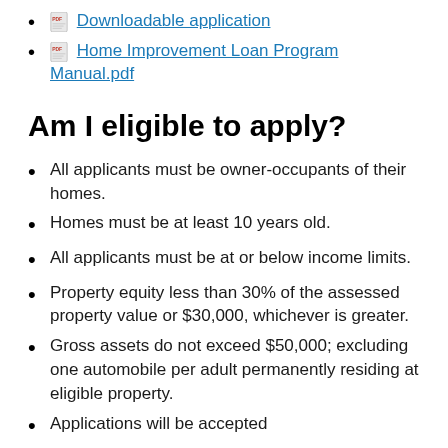Downloadable application
Home Improvement Loan Program Manual.pdf
Am I eligible to apply?
All applicants must be owner-occupants of their homes.
Homes must be at least 10 years old.
All applicants must be at or below income limits.
Property equity less than 30% of the assessed property value or $30,000, whichever is greater.
Gross assets do not exceed $50,000; excluding one automobile per adult permanently residing at eligible property.
Applications will be accepted...